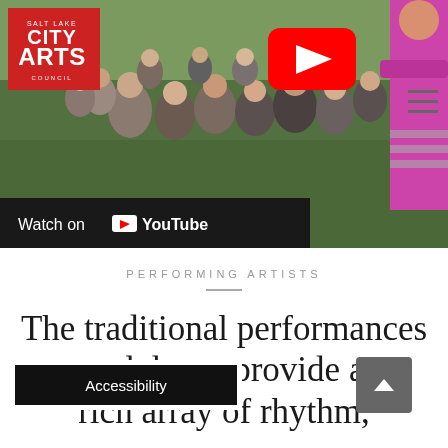[Figure (screenshot): YouTube video thumbnail showing Salt Lake City Arts Council logo in top-left corner, YouTube play button overlay, and performers/crowd scene on green grass. Bottom bar shows 'Watch on YouTube'.]
PERFORMING ARTISTS
The traditional performances and dance provide a rich array of rhythm,
Accessibility
^